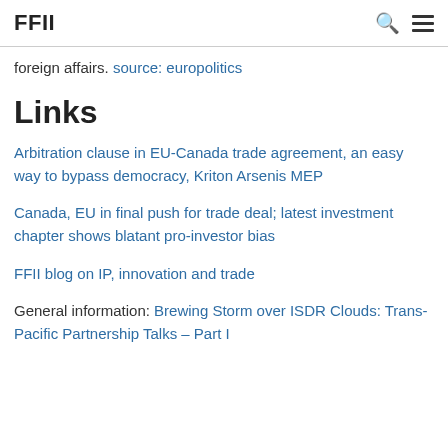FFII
foreign affairs. source: europolitics
Links
Arbitration clause in EU-Canada trade agreement, an easy way to bypass democracy, Kriton Arsenis MEP
Canada, EU in final push for trade deal; latest investment chapter shows blatant pro-investor bias
FFII blog on IP, innovation and trade
General information: Brewing Storm over ISDR Clouds: Trans-Pacific Partnership Talks – Part I